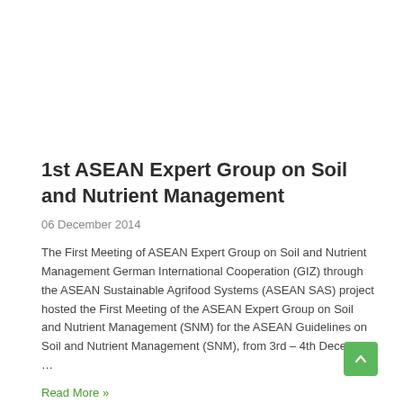1st ASEAN Expert Group on Soil and Nutrient Management
06 December 2014
The First Meeting of ASEAN Expert Group on Soil and Nutrient Management German International Cooperation (GIZ) through the ASEAN Sustainable Agrifood Systems (ASEAN SAS) project hosted the First Meeting of the ASEAN Expert Group on Soil and Nutrient Management (SNM) for the ASEAN Guidelines on Soil and Nutrient Management (SNM), from 3rd – 4th December …
Read More »